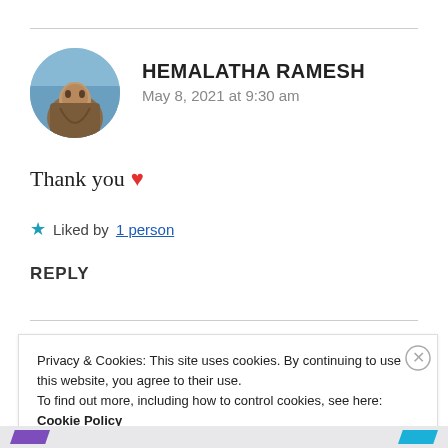[Figure (photo): Circular avatar photo of Hemalatha Ramesh, showing a person against a blue sky background]
HEMALATHA RAMESH
May 8, 2021 at 9:30 am
Thank you ❤
★ Liked by 1 person
REPLY
Privacy & Cookies: This site uses cookies. By continuing to use this website, you agree to their use.
To find out more, including how to control cookies, see here: Cookie Policy
Close and accept